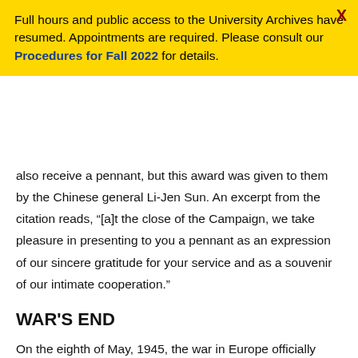Full hours and public access to the University Archives have resumed. Appointments are required. Please consult our Procedures for Fall 2022 for details.
also receive a pennant, but this award was given to them by the Chinese general Li-Jen Sun. An excerpt from the citation reads, “[a]t the close of the Campaign, we take pleasure in presenting to you a pennant as an expression of our sincere gratitude for your service and as a souvenir of our intimate cooperation.”
WAR'S END
On the eighth of May, 1945, the war in Europe officially ended. Penn celebrated with chapel services in Irvine Auditorium. The ushers for this